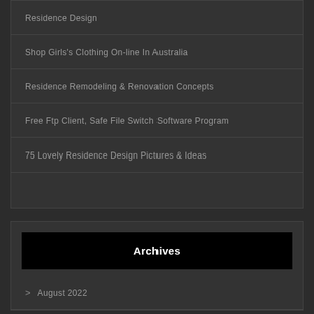Residence Design
Shop Girls's Clothing On-line In Australia
Residence Remodeling & Renovation Concepts
Free Ftp Client, Safe File Switch Software Program
75 Lovely Residence Design Pictures & Ideas
Archives
August 2022